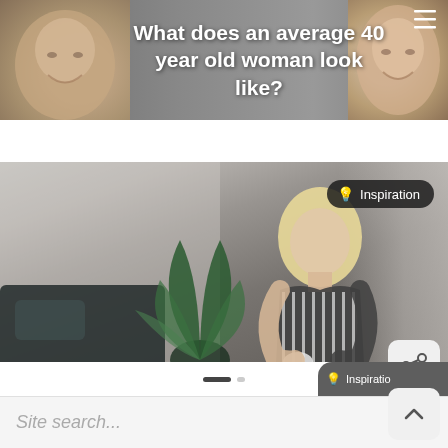[Figure (photo): Top banner showing partial faces of women on left and right sides with a text overlay question]
What does an average 40 year old woman look like?
[Figure (photo): Photo of a blonde woman in a striped shirt holding a cup, standing by a window near plants. Has an 'Inspiration' badge in top right corner and a share icon. Caption reads 'How to Be a Virtuous Woman'.]
How to Be a Virtuous Woman
Site search...